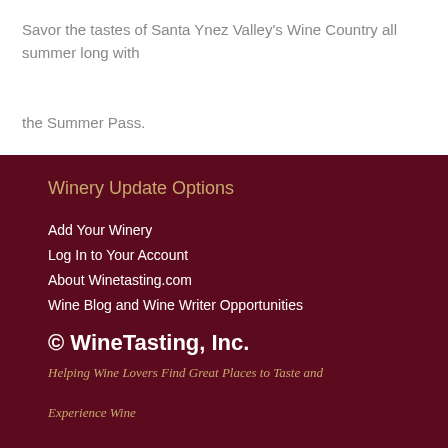Savor the tastes of Santa Ynez Valley's Wine Country all summer long with the Summer Pass.
Winery Update Options
Add Your Winery
Log In to Your Account
About Winetasting.com
Wine Blog and Wine Writer Opportunities
© WineTasting, Inc.
Helping Wine Lovers Find Great Places to Taste and Experience Wine